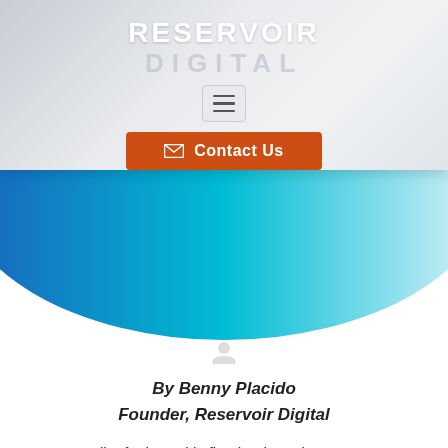RESERVOIR DIGITAL
[Figure (screenshot): Hamburger menu button icon with three horizontal lines]
[Figure (screenshot): Orange 'Contact Us' button with envelope icon]
[Figure (illustration): Blue gradient elliptical arc/wave shape on white background]
By Benny Placido
Founder, Reservoir Digital
Talk of Inbound is fine but how do you go